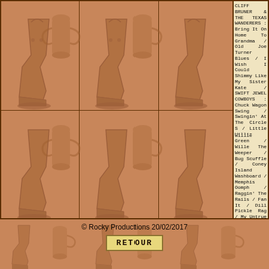[Figure (illustration): Three-column grid of repeated cowboy boot illustrations on terracotta/brown background forming the left portion of the page]
CLIFF BRUNER & THE TEXAS WANDERERS : Bring It On Home To Grandma / Old Joe Turner Blues / I Wish I Could Shimmy Like My Sister Kate / SWIFT JEWEL COWBOYS : Chuck Wagon Swing / Swingin' At The Circle S / Little Willie Green / Wille The Weeper / Bug Scuffle / Coney Island Washboard / Memphis Oomph / Raggin' The Rails / Fan It / Dill Pickle Rag / My Untrue Cowgirl / You Got To Hi-De-Ho (To Get Along With Me) / Memphis Blues / Rose Room
© Rocky Productions 20/02/2017
RETOUR